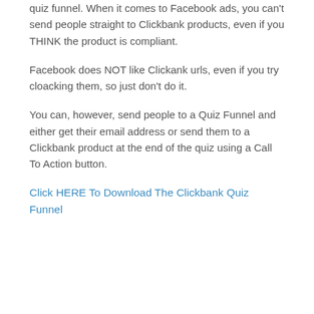quiz funnel. When it comes to Facebook ads, you can't send people straight to Clickbank products, even if you THINK the product is compliant.
Facebook does NOT like Clickank urls, even if you try cloacking them, so just don't do it.
You can, however, send people to a Quiz Funnel and either get their email address or send them to a Clickbank product at the end of the quiz using a Call To Action button.
Click HERE To Download The Clickbank Quiz Funnel